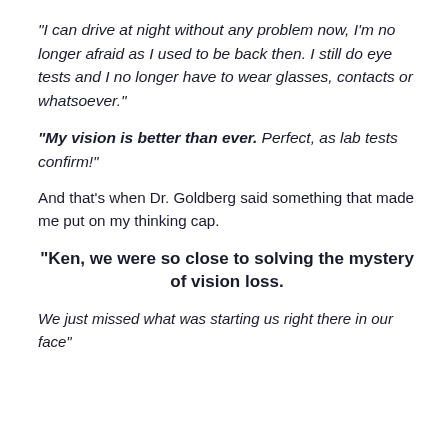“I can drive at night without any problem now, I’m no longer afraid as I used to be back then. I still do eye tests and I no longer have to wear glasses, contacts or whatsoever.”
“My vision is better than ever. Perfect, as lab tests confirm!”
And that’s when Dr. Goldberg said something that made me put on my thinking cap.
“Ken, we were so close to solving the mystery of vision loss.
We just missed what was starting us right there in our face”